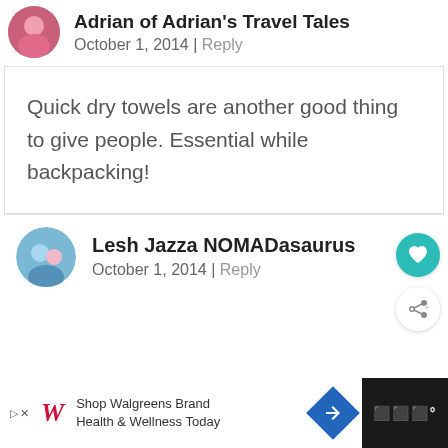Adrian of Adrian's Travel Tales
October 1, 2014 | Reply
Quick dry towels are another good thing to give people. Essential while backpacking!
Lesh Jazza NOMADasaurus
October 1, 2014 | Reply
[Figure (other): Walgreens ad banner: Shop Walgreens Brand Health & Wellness Today]
[Figure (other): Dark panel with menu/settings icon]